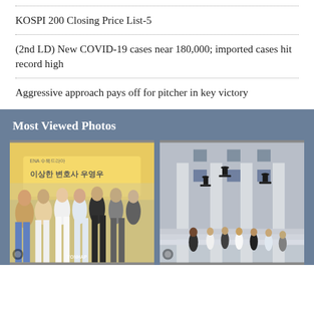KOSPI 200 Closing Price List-5
(2nd LD) New COVID-19 cases near 180,000; imported cases hit record high
Aggressive approach pays off for pitcher in key victory
Most Viewed Photos
[Figure (photo): Group photo at Korean TV drama press event for 'Extraordinary Attorney Woo']
[Figure (photo): Graduation ceremony photo with students in caps and gowns in front of a columned building]